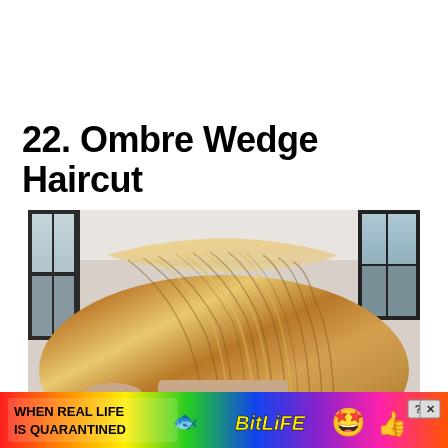22. Ombre Wedge Haircut
[Figure (photo): Back view of a woman with a blonde ombre wedge haircut, showing layered hair with lighter blonde highlights on top and darker golden-brown tones beneath. Background shows a salon or room interior with windows.]
[Figure (infographic): Advertisement banner for BitLife mobile game with rainbow gradient background. Text reads 'WHEN REAL LIFE IS QUARANTINED' on the left, a sperm emoji in the middle, 'BitLiFE' in yellow bold text, and animated emoji characters (star-eyes face with mask, thumbs up). Close and question mark buttons on the right.]